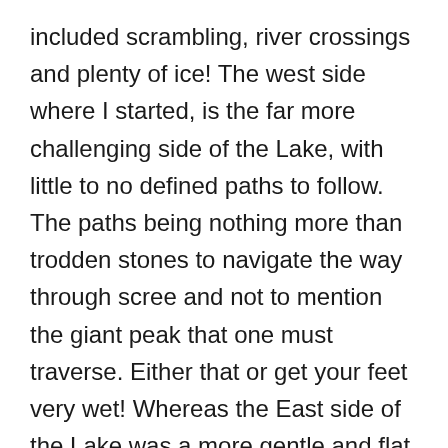included scrambling, river crossings and plenty of ice! The west side where I started, is the far more challenging side of the Lake, with little to no defined paths to follow. The paths being nothing more than trodden stones to navigate the way through scree and not to mention the giant peak that one must traverse. Either that or get your feet very wet! Whereas the East side of the Lake was a more gentle and flat gravel path, suitable for bikes and prams. I, of course, opted to tackle the more adventurous hiking route, the Westside first. It was -3c when I started my hike, not a breath of wind out, the sun beaming, my breath drifting effortlessly into the sky, the snowcapped peaks glistening in the sun with every crunch of my feet on the icy ground. It felt great to be hiking again, picking out places to put your feet, feeling your body warm-up with every touch, your soul drinking in the views as your body gulps in the